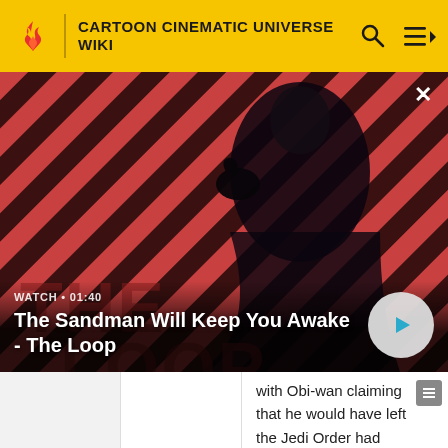CARTOON CINEMATIC UNIVERSE WIKI
[Figure (screenshot): Video thumbnail showing a dark figure with a raven on their shoulder against a red and black diagonal striped background. Title reads 'The Sandman Will Keep You Awake - The Loop'. WATCH • 01:40 label shown.]
with Obi-wan claiming that he would have left the Jedi Order had Satine asked. Satine later watched her world fall to the Shadow Collective, which includes the Death Watch, under Darth Maul, who later